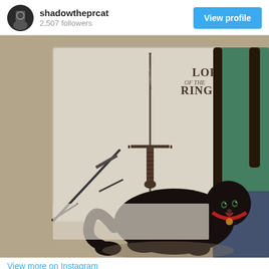shadowtheprcat
2,507 followers
[Figure (photo): A black cat with a red collar lying on a beige carpet in front of a white decorative pillow printed with a sword and 'Lord of the Rings' text. A dark wooden chair is visible on the right side.]
View more on Instagram